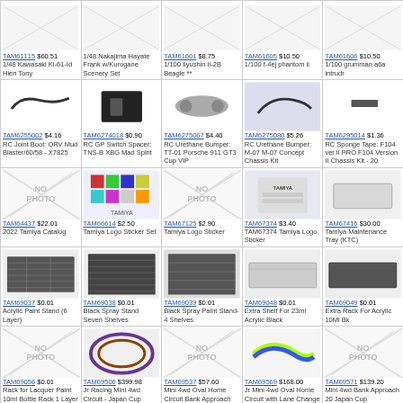| TAM61115 $60.51
1/48 Kawasaki Ki-61-Id Hien Tony | 1/48 Nakajima Hayate Frank w/Kurogane Scenery Set | TAM61601 $8.75
1/100 Iiyushin Ii-2B Beagle ** | TAM61605 $10.50
1/100 f-4ej phantom ii | TAM61606 $10.50
1/100 grumman a6a intrudr |
| TAM6255002 $4.16
RC Joint Boot: ORV Mud Blaster/60/58 - X7825 | TAM6274018 $0.90
RC GP Switch Spacer: TNS-B XBG Mad Spirit | TAM6275067 $4.40
RC Urethane Bumper: TT-01 Porsche 911 GT3 Cup VIP | TAM6275080 $5.26
RC Urethane Bumper: M-07 M-07 Concept Chassis Kit | TAM6295014 $1.36
RC Sponge Tape: F104 ver.II PRO F104 Version II Chassis Kit - 20 |
| TAM64437 $22.01
2022 Tamiya Catalog | TAM66614 $2.50
Tamiya Logo Sticker Set | TAM67125 $2.90
Tamiya Logo Sticker | TAM67374 $3.40
TAM67374 Tamiya Logo Sticker | TAM67416 $30.00
Tamiya Maintenance Tray (KTC) |
| TAM69037 $0.01
Acrylic Paint Stand (6 Layer) | TAM69038 $0.01
Black Spray Stand Seven Shelves | TAM69039 $0.01
Black Spray Paint Stand-4 Shelves | TAM69048 $0.01
Extra Shelf For 23ml Acrylic Black | TAM69049 $0.01
Extra Rack For Acrylic 10Ml Bk |
| TAM69056 $0.01
Rack for Lacquer Paint 10ml Bottle Rack 1 Layer | TAM69506 $399.98
Jr Racing Mini 4wd Circuit - Japan Cup Junior Circuit | TAM69537 $57.60
Mini 4wd Oval Home Circuit Bank Approach 20 ... | TAM69569 $168.00
Jr Mini 4wd Oval Home Circuit with Lane Change | TAM69571 $139.20
Mini 4wd Bank Approach 20 Japan Cup |